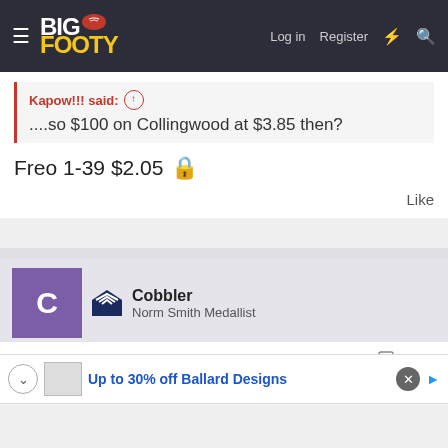BigFooty — Log in  Register
Kapow!!! said: ....so $100 on Collingwood at $3.85 then?
Freo 1-39 $2.05 🔒
Like
Cobbler
Norm Smith Medallist
May 20, 2022  #645
Up to 30% off Ballard Designs